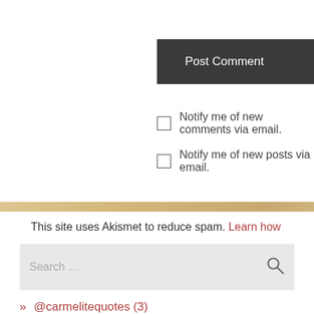Post Comment
Notify me of new comments via email.
Notify me of new posts via email.
This site uses Akismet to reduce spam. Learn how your comment data is processed.
Search ...
» @carmelitequotes (3)
» Carmelite (2,810)
» quotes (2,082)
» saints (1,756)
» Uncategorized (265)